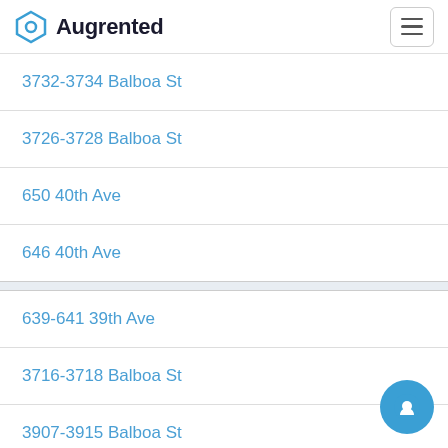Augrented
3732-3734 Balboa St
3726-3728 Balboa St
650 40th Ave
646 40th Ave
639-641 39th Ave
3716-3718 Balboa St
3907-3915 Balboa St
3712 Balboa St